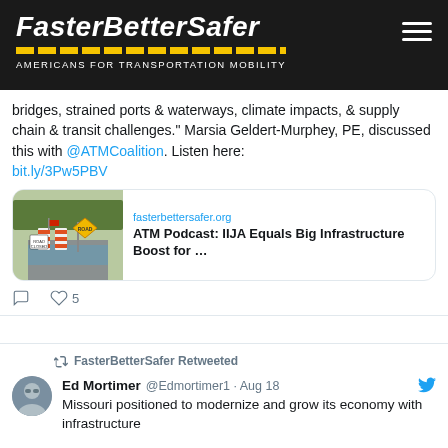[Figure (screenshot): FasterBetterSafer website header with logo text in italic bold white on dark background, yellow dashed stripe, and subtitle 'AMERICANS FOR TRANSPORTATION MOBILITY'. Hamburger menu icon on right.]
bridges, strained ports & waterways, climate impacts, & supply chain & transit challenges." Marsia Geldert-Murphey, PE, discussed this with @ATMCoalition. Listen here: bit.ly/3Pw5PBV
[Figure (screenshot): Link preview card showing a flooded road with orange construction barriers and a yellow warning sign. Domain: fasterbettersafer.org. Title: ATM Podcast: IIJA Equals Big Infrastructure Boost for ...]
5 likes
FasterBetterSafer Retweeted
Ed Mortimer @Edmortimer1 · Aug 18
Missouri positioned to modernize and grow its economy with infrastructure